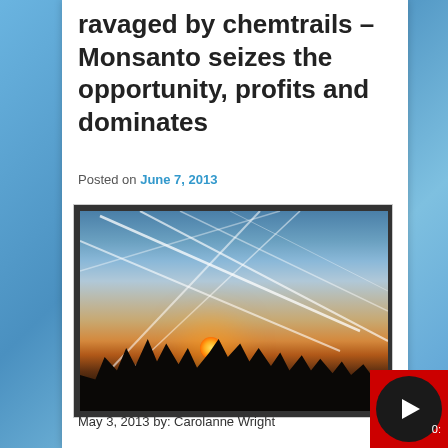ravaged by chemtrails – Monsanto seizes the opportunity, profits and dominates
Posted on June 7, 2013
[Figure (photo): Photograph of a sunset sky with multiple chemtrail/contrail streaks crossing the sky in various directions, silhouetted trees and landscape at the bottom]
May 3, 2013 by: Carolanne Wright